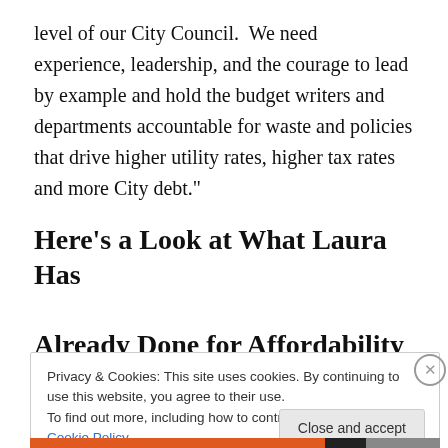level of our City Council.  We need experience, leadership, and the courage to lead by example and hold the budget writers and departments accountable for waste and policies that drive higher utility rates, higher tax rates and more City debt."
Here's a Look at What Laura Has Already Done for Affordability
Privacy & Cookies: This site uses cookies. By continuing to use this website, you agree to their use.
To find out more, including how to control cookies, see here: Cookie Policy